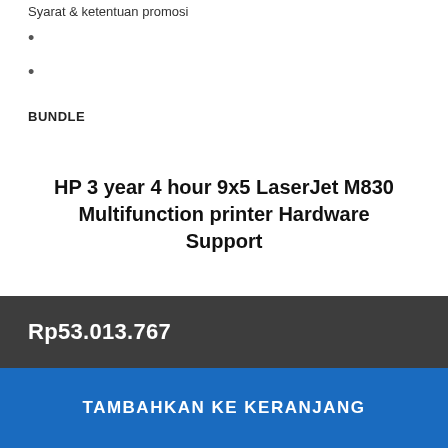Syarat & ketentuan promosi
BUNDLE
HP 3 year 4 hour 9x5 LaserJet M830 Multifunction printer Hardware Support
Rp53.013.767
TAMBAHKAN KE KERANJANG